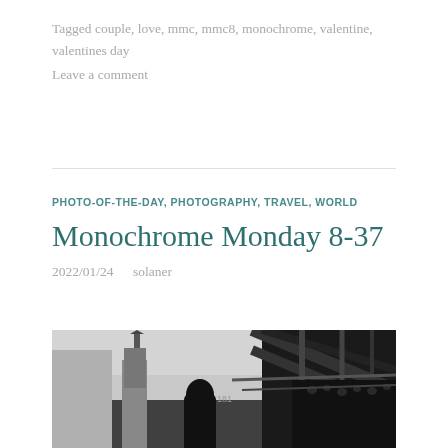Tagged couple, love, mmc, mmc8, monochrome, valentine, valentines day
Leave a comment
PHOTO-OF-THE-DAY, PHOTOGRAPHY, TRAVEL, WORLD
Monochrome Monday 8-37
2022/01/24   solaner
[Figure (photo): Black and white photograph showing a silhouette of a person with long hair seen from behind, a church or cathedral spire visible in the background, and a metal bridge structure with steel beams visible on the right side. The image has high contrast monochrome tones.]